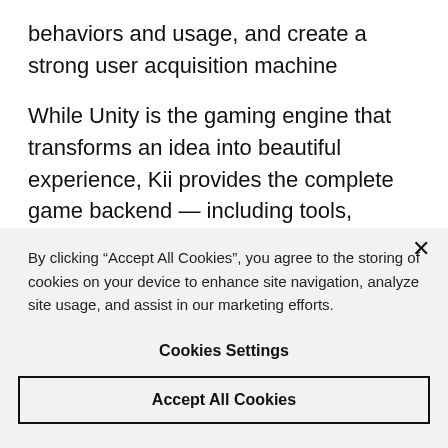behaviors and usage, and create a strong user acquisition machine
While Unity is the gaming engine that transforms an idea into beautiful experience, Kii provides the complete game backend — including tools, insights and a distribution package to help developers aggressively distribute their games
By clicking “Accept All Cookies”, you agree to the storing of cookies on your device to enhance site navigation, analyze site usage, and assist in our marketing efforts.
Cookies Settings
Accept All Cookies